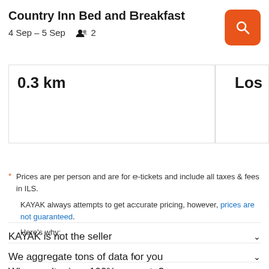Country Inn Bed and Breakfast — 4 Sep – 5 Sep   2
0.3 km
Los
* Prices are per person and are for e-tickets and include all taxes & fees in ILS.
KAYAK always attempts to get accurate pricing, however, prices are not guaranteed.
Here's why:
KAYAK is not the seller
We aggregate tons of data for you
Why aren't prices 100% accurate?